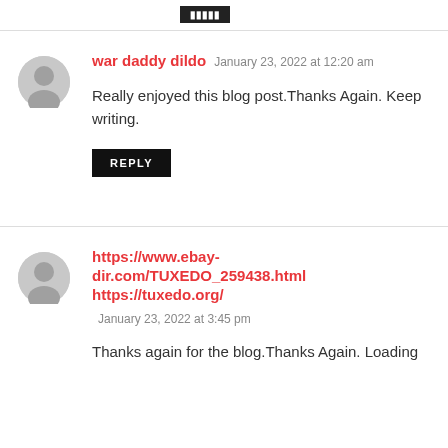[Figure (other): Black redacted/button bar at top]
war daddy dildo  January 23, 2022 at 12:20 am
Really enjoyed this blog post.Thanks Again. Keep writing.
REPLY
https://www.ebay-dir.com/TUXEDO_259438.html https://tuxedo.org/  January 23, 2022 at 3:45 pm
Thanks again for the blog.Thanks Again. Loading